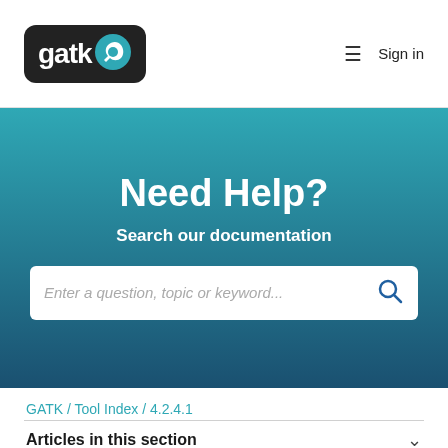[Figure (logo): GATK logo — white text 'gatk' with blue wrench/circle icon on dark rounded rectangle background]
≡  Sign in
Need Help?
Search our documentation
Enter a question, topic or keyword...
GATK / Tool Index / 4.2.4.1
Articles in this section